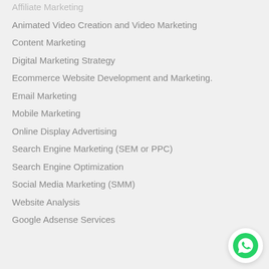Affiliate Marketing
Animated Video Creation and Video Marketing
Content Marketing
Digital Marketing Strategy
Ecommerce Website Development and Marketing.
Email Marketing
Mobile Marketing
Online Display Advertising
Search Engine Marketing (SEM or PPC)
Search Engine Optimization
Social Media Marketing (SMM)
Website Analysis
Google Adsense Services
[Figure (logo): WhatsApp contact button icon, circular white background with green WhatsApp logo]